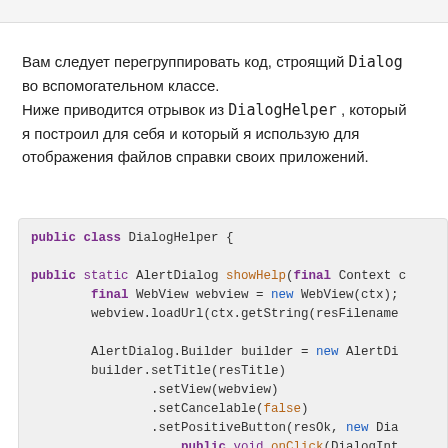Вам следует перегруппировать код, строящий Dialog во вспомогательном классе. Ниже приводится отрывок из DialogHelper , который я построил для себя и который я использую для отображения файлов справки своих приложений.
public class DialogHelper {

public static AlertDialog showHelp(final Context c
        final WebView webview = new WebView(ctx);
        webview.loadUrl(ctx.getString(resFilename

        AlertDialog.Builder builder = new AlertDi
        builder.setTitle(resTitle)
                .setView(webview)
                .setCancelable(false)
                .setPositiveButton(resOk, new Dia
                        public void onClick(DialogInt
                            dialog.dismiss();
                    }